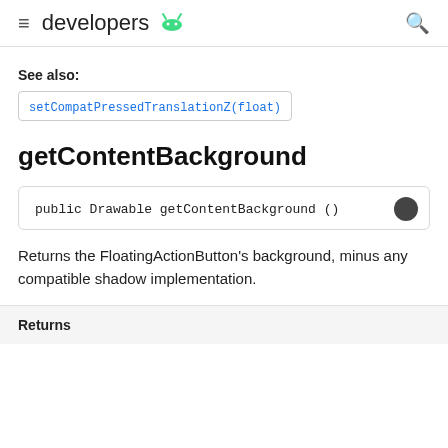developers (android logo)
See also:
setCompatPressedTranslationZ(float)
getContentBackground
public Drawable getContentBackground ()
Returns the FloatingActionButton's background, minus any compatible shadow implementation.
Returns